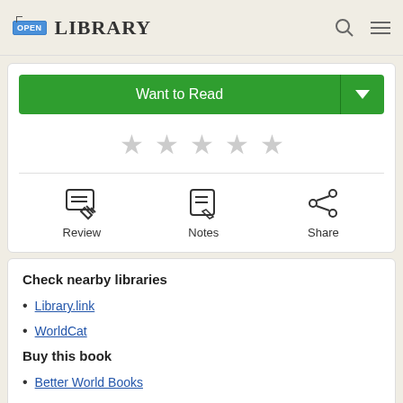OPEN LIBRARY
Want to Read
[Figure (other): Five empty star rating icons in a row]
[Figure (other): Three action icons: Review, Notes, Share]
Check nearby libraries
Library.link
WorldCat
Buy this book
Better World Books
Amazon
More